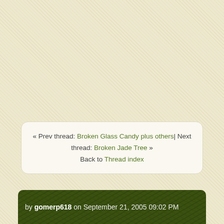« Prev thread: Broken Glass Candy plus others| Next thread: Broken Jade Tree » Back to Thread index
by gomerp618 on September 21, 2005 09:02 PM